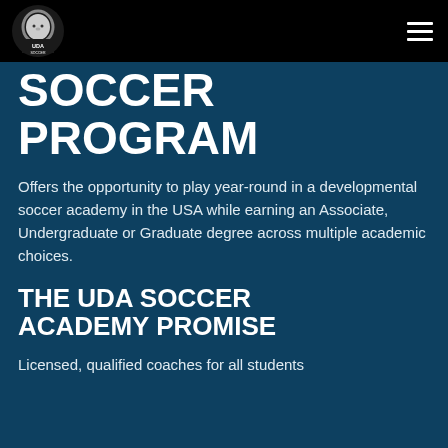UDA Soccer
SOCCER PROGRAM
Offers the opportunity to play year-round in a developmental soccer academy in the USA while earning an Associate, Undergraduate or Graduate degree across multiple academic choices.
THE UDA SOCCER ACADEMY PROMISE
Licensed, qualified coaches for all students